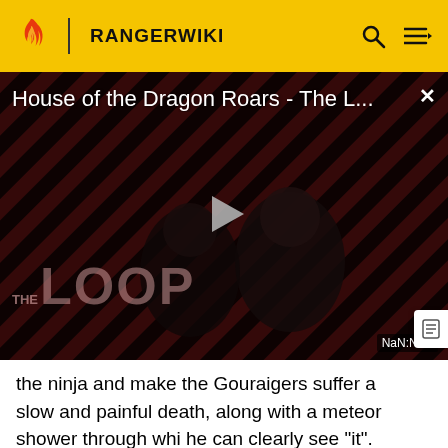RANGERWIKI
[Figure (screenshot): Video thumbnail for 'House of the Dragon Roars - The L...' showing a dark background with diagonal red/black stripes, silhouettes of people, a play button in the center, 'THE LOOP' text overlay, and a NaN:NaN timestamp.]
the ninja and make the Gouraigers suffer a slow and painful death, along with a meteor shower through whi he can clearly see "it". Using special neck-rings that dra people's lives, Manmaruba places them on the Hurricanegers as well as every person the Gouraigers